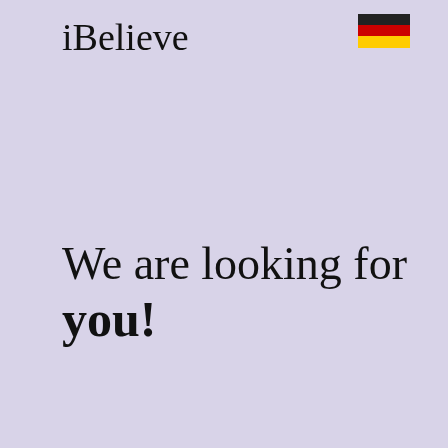iBelieve
[Figure (illustration): German flag icon (black, red, gold horizontal stripes) in top right corner]
We are looking for you!